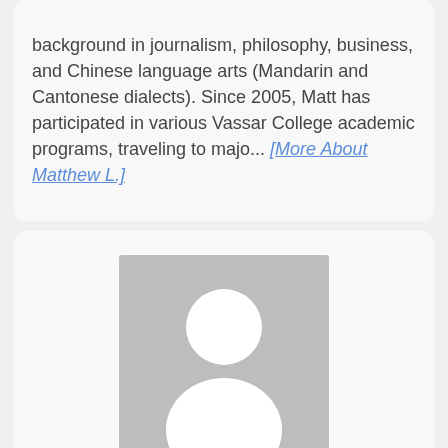background in journalism, philosophy, business, and Chinese language arts (Mandarin and Cantonese dialects). Since 2005, Matt has participated in various Vassar College academic programs, traveling to majo... [More About Matthew L.]
[Figure (illustration): Generic placeholder avatar silhouette — white person icon on gray background]
Maureen P.   West Caldwell, NJ
AP Macroeconomics/AP Microeconomics Tutor/ NJ Certified P...